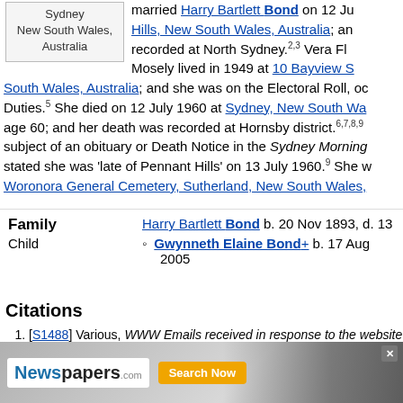[Figure (other): Location card showing Sydney, New South Wales, Australia]
married Harry Bartlett Bond on 12 Ju... Hills, New South Wales, Australia; and recorded at North Sydney.2,3 Vera Fl... Mosely lived in 1949 at 10 Bayview S... South Wales, Australia; and she was on the Electoral Roll, oc... Duties.5 She died on 12 July 1960 at Sydney, New South Wa... age 60; and her death was recorded at Hornsby district.6,7,8,9 subject of an obituary or Death Notice in the Sydney Morning... stated she was 'late of Pennant Hills' on 13 July 1960.9 She w... Woronora General Cemetery, Sutherland, New South Wales,...
| Role | Person | Details |
| --- | --- | --- |
| Family | Harry Bartlett Bond | b. 20 Nov 1893, d. 13... |
| Child | Gwynneth Elaine Bond+ | b. 17 Aug 2005 |
Citations
[S1488] Various, WWW Emails received in response to the website a researchers (Various: Various, Various), MJ Ujimoto 4 Aug 2012.
[S1007] Australian Government, BC MC DC Australia (Commonwea States, Various), Australia Marriage Index, 1788-1950. Reg no 1073
[S1488] Various, WWW Emails received in response to the website... res... (Various: Various, Various), MJ Ujimoto 4 Aug 2012 inc...
[S3... ational Ge... Va... arnet Gene... (b...
[Figure (other): Advertisement banner for Newspapers.com with Search Now button and X close button]